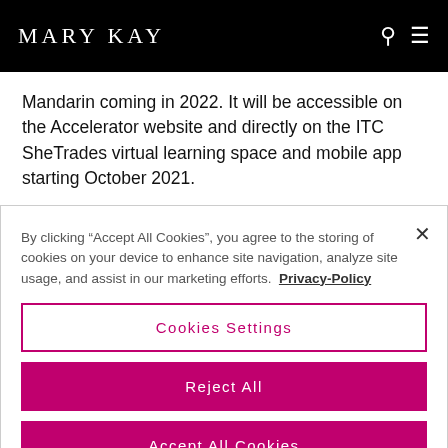MARY KAY
Mandarin coming in 2022. It will be accessible on the Accelerator website and directly on the ITC SheTrades virtual learning space and mobile app starting October 2021.
By clicking "Accept All Cookies", you agree to the storing of cookies on your device to enhance site navigation, analyze site usage, and assist in our marketing efforts. Privacy-Policy
Cookies Settings
Reject All
Accept All Cookies